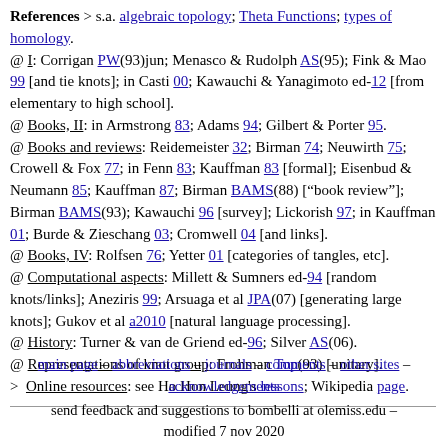References > s.a. algebraic topology; Theta Functions; types of homology. @ I: Corrigan PW(93)jun; Menasco & Rudolph AS(95); Fink & Mao 99 [and tie knots]; in Casti 00; Kawauchi & Yanagimoto ed-12 [from elementary to high school]. @ Books, II: in Armstrong 83; Adams 94; Gilbert & Porter 95. @ Books and reviews: Reidemeister 32; Birman 74; Neuwirth 75; Crowell & Fox 77; in Fenn 83; Kauffman 83 [formal]; Eisenbud & Neumann 85; Kauffman 87; Birman BAMS(88) ["book review"]; Birman BAMS(93); Kawauchi 96 [survey]; Lickorish 97; in Kauffman 01; Burde & Zieschang 03; Cromwell 04 [and links]. @ Books, IV: Rolfsen 76; Yetter 01 [categories of tangles, etc]. @ Computational aspects: Millett & Sumners ed-94 [random knots/links]; Aneziris 99; Arsuaga et al JPA(07) [generating large knots]; Gukov et al a2010 [natural language processing]. @ History: Turner & van de Griend ed-96; Silver AS(06). @ Representations of knot group: Frohman Top(93) [unitary]. > Online resources: see Ho Hon Leung's lessons; Wikipedia page.
main page – abbreviations – journals – comments – other sites – acknowledgements
send feedback and suggestions to bombelli at olemiss.edu – modified 7 nov 2020